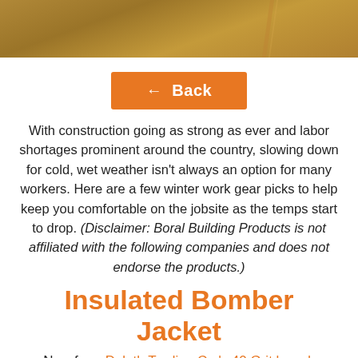[Figure (photo): Top portion of a photo showing an outdoor construction or worksite scene with warm brown/orange tones, partially cropped at top of page.]
← Back
With construction going as strong as ever and labor shortages prominent around the country, slowing down for cold, wet weather isn't always an option for many workers. Here are a few winter work gear picks to help keep you comfortable on the jobsite as the temps start to drop. (Disclaimer: Boral Building Products is not affiliated with the following companies and does not endorse the products.)
Insulated Bomber Jacket
New from Duluth Trading Co.'s 40 Grit brand,